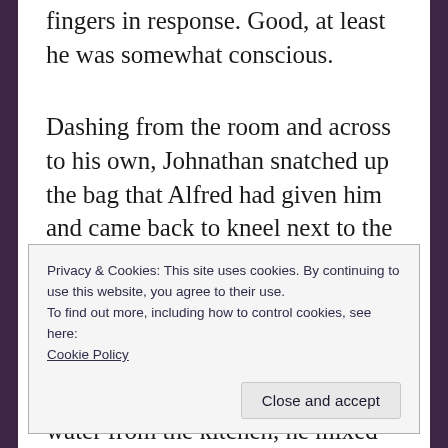fingers in response. Good, at least he was somewhat conscious.
Dashing from the room and across to his own, Johnathan snatched up the bag that Alfred had given him and came back to kneel next to the poor man. Fishing through it, he found a powder labelled ‘Essence of Wormkeel’, a staple he knew Alfred would never have let him go without. Fetching a cup of water from the kitchen, he mixed the powder with it until it formed a light paste, and then applied some to Mr Edwards’
Privacy & Cookies: This site uses cookies. By continuing to use this website, you agree to their use.
To find out more, including how to control cookies, see here:
Cookie Policy
Close and accept